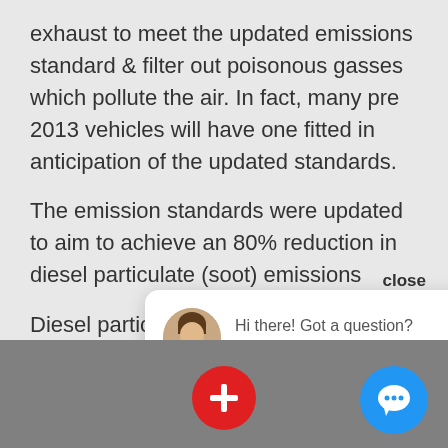exhaust to meet the updated emissions standard & filter out poisonous gasses which pollute the air. In fact, many pre 2013 vehicles will have one fitted in anticipation of the updated standards.
The emission standards were updated to aim to achieve an 80% reduction in diesel particulate (soot) emissions
Diesel particulate fil... maintaining ac...
[Figure (screenshot): Chat popup with avatar of Charlotte saying 'Hi there! Got a question? - Charlotte', with a close button, red plus button, and blue chat button]